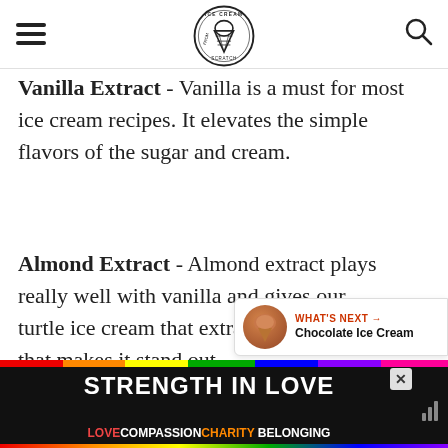Ice Cream From Scratch
Vanilla Extract - Vanilla is a must for most ice cream recipes. It elevates the simple flavors of the sugar and cream.
Almond Extract - Almond extract plays really well with vanilla and gives our turtle ice cream that extra special flavor that makes it stand out.
[Figure (other): WHAT'S NEXT arrow Chocolate Ice Cream thumbnail widget]
[Figure (other): Advertisement banner: STRENGTH IN LOVE / LOVE COMPASSION CHARITY BELONGING with rainbow colors]
STRENGTH IN LOVE | LOVE COMPASSION CHARITY BELONGING